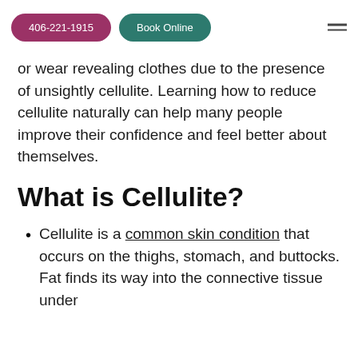406-221-1915  Book Online
or wear revealing clothes due to the presence of unsightly cellulite. Learning how to reduce cellulite naturally can help many people improve their confidence and feel better about themselves.
What is Cellulite?
Cellulite is a common skin condition that occurs on the thighs, stomach, and buttocks. Fat finds its way into the connective tissue under